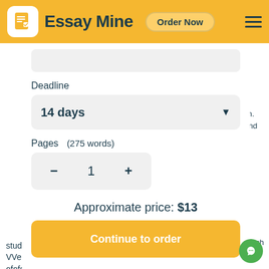Essay Mine  Order Now
Deadline
14 days
Pages   (275 words)
- 1 +
Approximate price: $13
Continue to order
sign. found ent
rch ch
udy
study nor of the the laser laser printerprinter.. VVery ery little little in in the the waway y ofofconcreteconcrete sasavings vings was was identified,